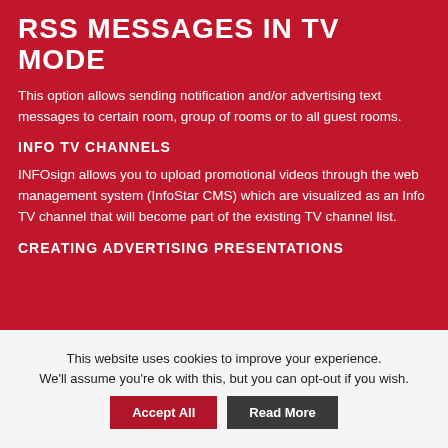RSS MESSAGES IN TV MODE
This option allows sending notification and/or advertising text messages to certain room, group of rooms or to all guest rooms.
INFO TV CHANNELS
INFOsign allows you to upload promotional videos through the web management system (InfoStar CMS) which are visualized as an Info TV channel that will become part of the existing TV channel list.
CREATING ADVERTISING PRESENTATIONS
This website uses cookies to improve your experience. We'll assume you're ok with this, but you can opt-out if you wish.
Accept All | Read More